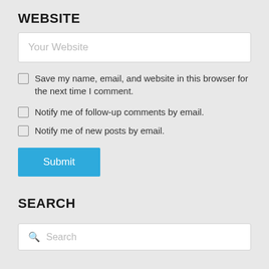WEBSITE
Your Website
Save my name, email, and website in this browser for the next time I comment.
Notify me of follow-up comments by email.
Notify me of new posts by email.
Submit
SEARCH
Search